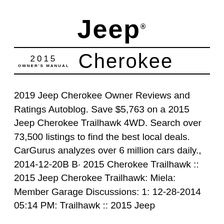[Figure (logo): Jeep brand logo in large bold black text with registered trademark symbol]
2015 Cherokee OWNER'S MANUAL
2019 Jeep Cherokee Owner Reviews and Ratings Autoblog. Save $5,763 on a 2015 Jeep Cherokee Trailhawk 4WD. Search over 73,500 listings to find the best local deals. CarGurus analyzes over 6 million cars daily., 2014-12-20B B· 2015 Cherokee Trailhawk :: 2015 Jeep Cherokee Trailhawk: Miela: Member Garage Discussions: 1: 12-28-2014 05:14 PM: Trailhawk :: 2015 Jeep